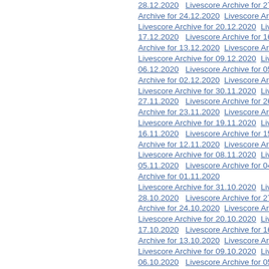28.12.2020   Livescore Archive for 27.12.202…
Archive for 24.12.2020   Livescore Archive fo…
Livescore Archive for 20.12.2020   Livescore…
17.12.2020   Livescore Archive for 16.12.202…
Archive for 13.12.2020   Livescore Archive fo…
Livescore Archive for 09.12.2020   Livescore…
06.12.2020   Livescore Archive for 05.12.202…
Archive for 02.12.2020   Livescore Archive for…
Livescore Archive for 30.11.2020   Livescore…
27.11.2020   Livescore Archive for 26.11.202…
Archive for 23.11.2020   Livescore Archive fo…
Livescore Archive for 19.11.2020   Livescore…
16.11.2020   Livescore Archive for 15.11.202…
Archive for 12.11.2020   Livescore Archive fo…
Livescore Archive for 08.11.2020   Livescore…
05.11.2020   Livescore Archive for 04.11.202…
Archive for 01.11.2020
Livescore Archive for 31.10.2020   Livescore…
28.10.2020   Livescore Archive for 27.10.202…
Archive for 24.10.2020   Livescore Archive fo…
Livescore Archive for 20.10.2020   Livescore…
17.10.2020   Livescore Archive for 16.10.202…
Archive for 13.10.2020   Livescore Archive fo…
Livescore Archive for 09.10.2020   Livescore…
06.10.2020   Livescore Archive for 05.10.20…